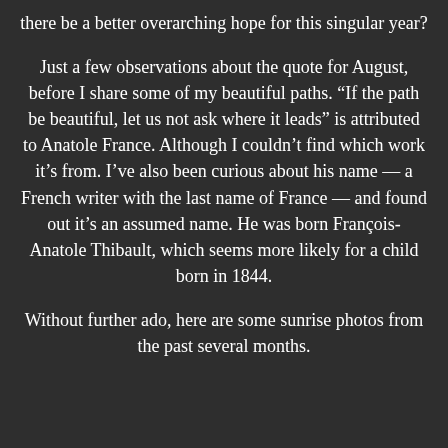there be a better overarching hope for this singular year?
Just a few observations about the quote for August, before I share some of my beautiful paths. “If the path be beautiful, let us not ask where it leads” is attributed to Anatole France. Although I couldn’t find which work it’s from. I’ve also been curious about his name — a French writer with the last name of France — and found out it’s an assumed name. He was born François-Anatole Thibault, which seems more likely for a child born in 1844.
Without further ado, here are some sunrise photos from the past several months.